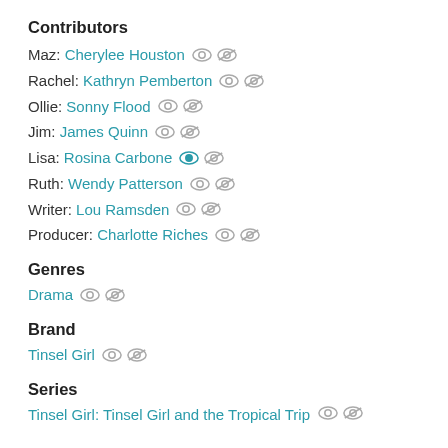Contributors
Maz: Cherylee Houston
Rachel: Kathryn Pemberton
Ollie: Sonny Flood
Jim: James Quinn
Lisa: Rosina Carbone
Ruth: Wendy Patterson
Writer: Lou Ramsden
Producer: Charlotte Riches
Genres
Drama
Brand
Tinsel Girl
Series
Tinsel Girl: Tinsel Girl and the Tropical Trip